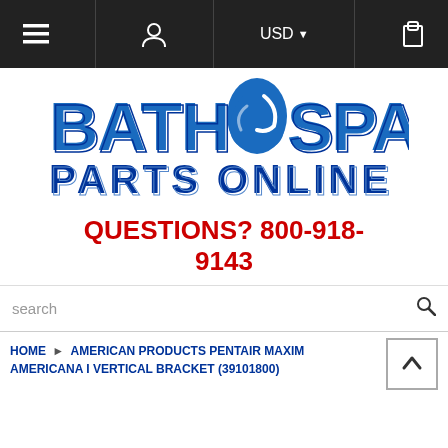Navigation bar with menu, user, USD currency selector, and cart icons
[Figure (logo): Bath Spa Parts Online logo with blue text and water droplet graphic]
QUESTIONS? 800-918-9143
search
HOME > AMERICAN PRODUCTS PENTAIR MAXIM AMERICANA I VERTICAL BRACKET (39101800)